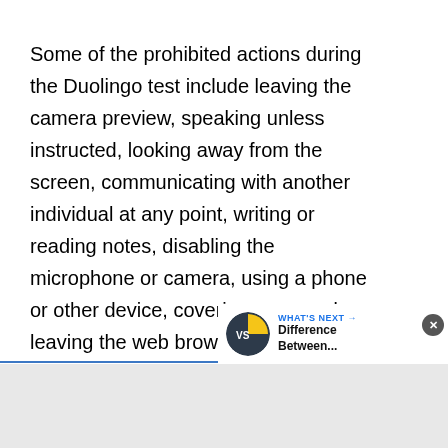Some of the prohibited actions during the Duolingo test include leaving the camera preview, speaking unless instructed, looking away from the screen, communicating with another individual at any point, writing or reading notes, disabling the microphone or camera, using a phone or other device, covering ears, and leaving the web browser.
[Figure (other): Blue circular like/heart button with count of 1 and a share button below it]
[Figure (other): What's Next banner with pie-chart-style logo and text 'Difference Between...']